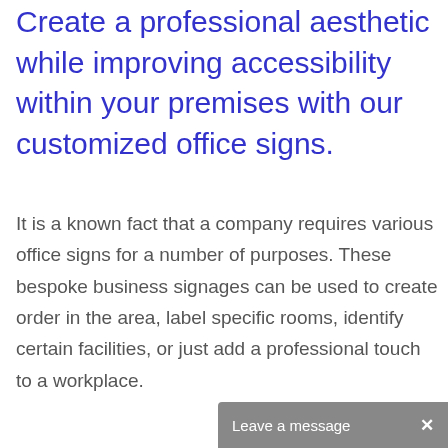Create a professional aesthetic while improving accessibility within your premises with our customized office signs.
It is a known fact that a company requires various office signs for a number of purposes. These bespoke business signages can be used to create order in the area, label specific rooms, identify certain facilities, or just add a professional touch to a workplace.